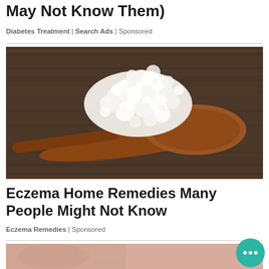May Not Know Them)
Diabetes Treatment | Search Ads | Sponsored
[Figure (photo): A wooden spoon holding white kefir grains or cottage cheese-like food against a rustic dark wood background]
Eczema Home Remedies Many People Might Not Know
Eczema Remedies | Sponsored
[Figure (photo): Bottom portion showing a person's face/skin, partially visible, with a teal chat bubble icon in bottom right corner]